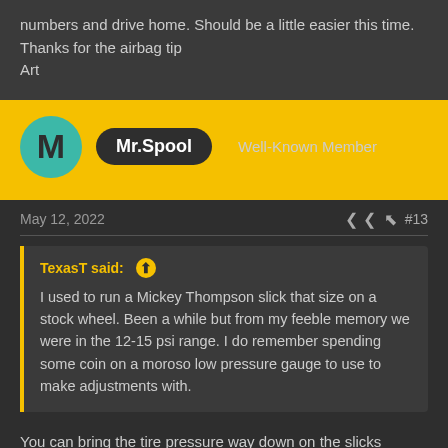numbers and drive home. Should be a little easier this time.
Thanks for the airbag tip
Art
Mr.Spool  Well-Known Member
May 12, 2022  #13
TexasT said: ↑

I used to run a Mickey Thompson slick that size on a stock wheel. Been a while but from my feeble memory we were in the 12-15 psi range. I do remember spending some coin on a moroso low pressure gauge to use to make adjustments with.
You can bring the tire pressure way down on the slicks
That will depend on how the suspension is setup